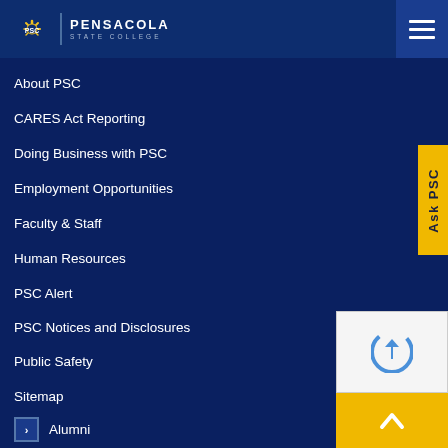PSC | PENSACOLA STATE COLLEGE
About PSC
CARES Act Reporting
Doing Business with PSC
Employment Opportunities
Faculty & Staff
Human Resources
PSC Alert
PSC Notices and Disclosures
Public Safety
Sitemap
Alumni